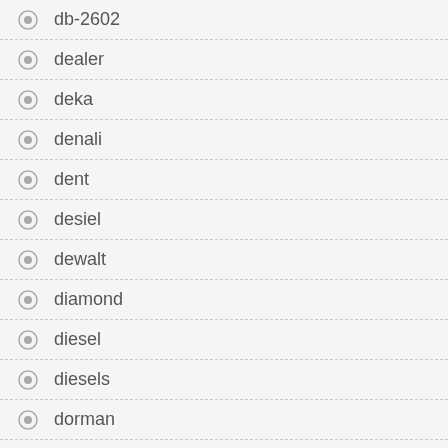db-2602
dealer
deka
denali
dent
desiel
dewalt
diamond
diesel
diesels
dorman